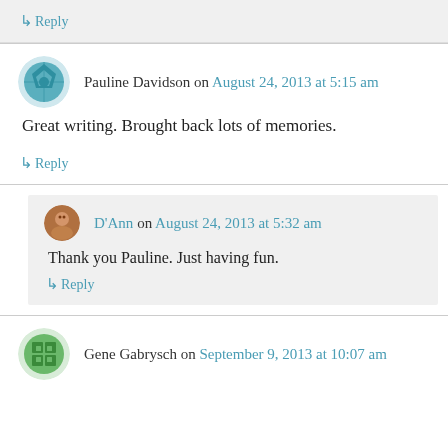↳ Reply
Pauline Davidson on August 24, 2013 at 5:15 am
Great writing. Brought back lots of memories.
↳ Reply
D'Ann on August 24, 2013 at 5:32 am
Thank you Pauline. Just having fun.
↳ Reply
Gene Gabrysch on September 9, 2013 at 10:07 am